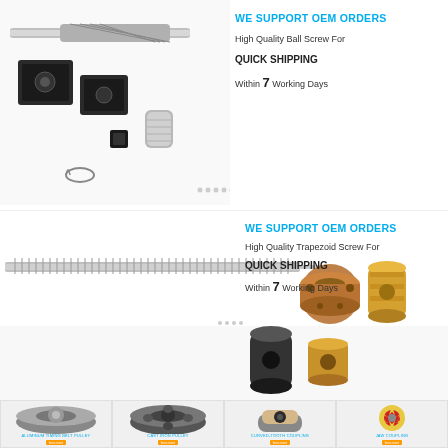[Figure (photo): Ball screw assembly with nut blocks, coupling, and snap ring components on white background]
WE SUPPORT OEM ORDERS
High Quality Ball Screw For
QUICK SHIPPING
Within 7 Working Days
[Figure (photo): Trapezoid screw (lead screw) with bronze flanged nut, cylindrical nut, black nut, and brass block nut components]
WE SUPPORT OEM ORDERS
High Quality Trapezoid Screw For
QUICK SHIPPING
Within 7 Working Days
[Figure (photo): Aluminum timing belt pulley product photo]
ALUMINUM TIMING BELT PULLEY
[Figure (photo): Cast iron pulley product photo]
CAST IRON PULLEY
[Figure (photo): Curved-tooth coupling product photo]
CURVED-TOOTH COUPLING
[Figure (photo): Jaw coupling product photo]
JAW COUPLING
[Figure (photo): Bottom row product 1]
[Figure (photo): Bottom row product 2]
[Figure (photo): Bottom row product 3 - belt]